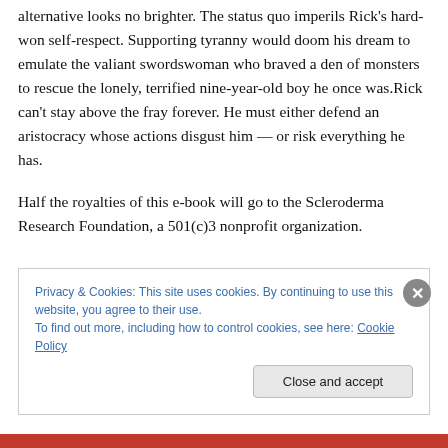alternative looks no brighter. The status quo imperils Rick's hard-won self-respect. Supporting tyranny would doom his dream to emulate the valiant swordswoman who braved a den of monsters to rescue the lonely, terrified nine-year-old boy he once was.Rick can't stay above the fray forever. He must either defend an aristocracy whose actions disgust him — or risk everything he has.

Half the royalties of this e-book will go to the Scleroderma Research Foundation, a 501(c)3 nonprofit organization.
Privacy & Cookies: This site uses cookies. By continuing to use this website, you agree to their use.
To find out more, including how to control cookies, see here: Cookie Policy